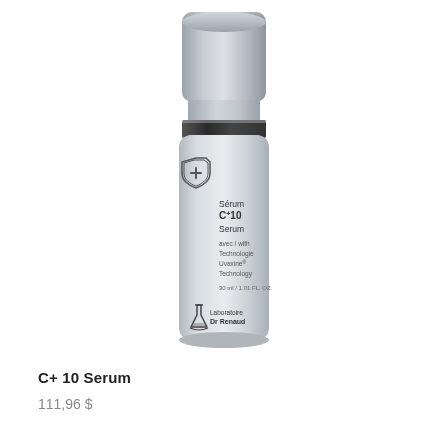[Figure (photo): A silver pump bottle of C+ 10 Serum by Laboratoire Dr Renaud. The bottle has a silver metallic cap and body with a dark band near the top. The label shows a shield with a plus sign, text reading 'Sérum C+10 Serum avec / with Technologie Uvaxine® Technology 30 ml / 1.01 FL. OZ.' and the Laboratoire Dr Renaud logo.]
C+ 10 Serum
111,96 $